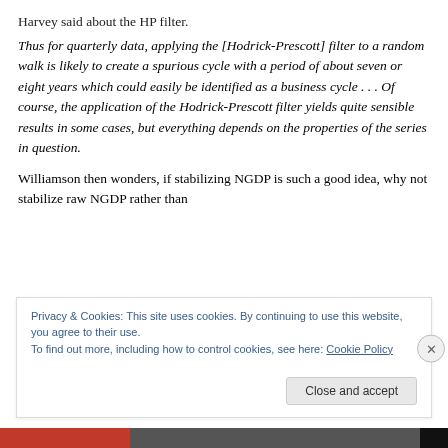Harvey said about the HP filter.
Thus for quarterly data, applying the [Hodrick-Prescott] filter to a random walk is likely to create a spurious cycle with a period of about seven or eight years which could easily be identified as a business cycle . . . Of course, the application of the Hodrick-Prescott filter yields quite sensible results in some cases, but everything depends on the properties of the series in question.
Williamson then wonders, if stabilizing NGDP is such a good idea, why not stabilize raw NGDP rather than
Privacy & Cookies: This site uses cookies. By continuing to use this website, you agree to their use.
To find out more, including how to control cookies, see here: Cookie Policy